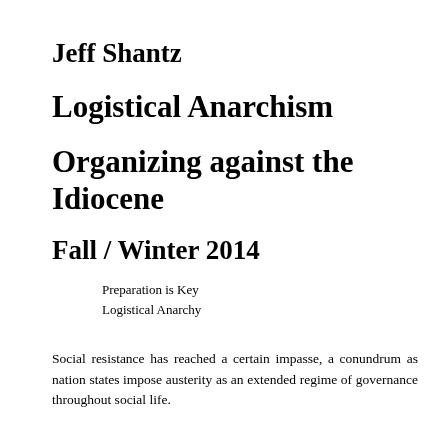Jeff Shantz
Logistical Anarchism
Organizing against the Idiocene
Fall / Winter 2014
Preparation is Key
Logistical Anarchy
Social resistance has reached a certain impasse, a conundrum as nation states impose austerity as an extended regime of governance throughout social life.